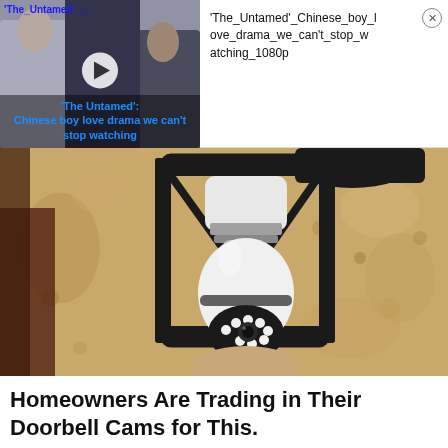[Figure (screenshot): Ad banner with video thumbnail on left showing 'The Untamed' Chinese drama with play button, and text on right reading 'The_Untamed'_Chinese_boy_love_drama_we_can't_stop_watching_1080p' with close button]
[Figure (photo): Close-up photograph of a smart security camera bulb inserted into an outdoor black lantern-style light fixture mounted on a textured stucco wall]
Homeowners Are Trading in Their Doorbell Cams for This.